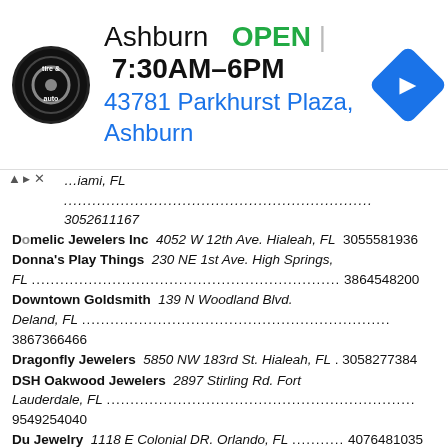[Figure (other): Tire & Auto service logo — circular black badge with 'tire & auto' text]
Ashburn   OPEN | 7:30AM–6PM
43781 Parkhurst Plaza, Ashburn
[Figure (other): Blue diamond-shaped navigation/directions arrow icon]
...iami, FL ... 3052611167
Domelic Jewelers Inc  4052 W 12th Ave. Hialeah, FL  3055581936
Donna's Play Things  230 NE 1st Ave. High Springs, FL ... 3864548200
Downtown Goldsmith  139 N Woodland Blvd. Deland, FL ... 3867366466
Dragonfly Jewelers  5850 NW 183rd St. Hialeah, FL . 3058277384
DSH Oakwood Jewelers  2897 Stirling Rd. Fort Lauderdale, FL ... 9549254040
Du Jewelry  1118 E Colonial DR. Orlando, FL ........... 4076481035
Dubose and Sons Jewelers  953 Old Dixie Hwy. Vero Beach, FL ... 7727709160
Duc Thanh Jewelry  4135 N State Road 7. Fort Lauderdale, FL ... 9546779409
Duchamp Jewelers  1 Lincoln Rd. Miami Beach, FL .. 3056950877
Dufrane Jewelers  8200 Health Center Blvd. Bonita Springs, FL ... 2394959005
Dunedin Jewelers  1000 Broadway. Dunedin, FL ...... 7277388799
Dunkin's Diamonds  11500 S Cleveland Ave. Fort Myers, FL ... 2392771011